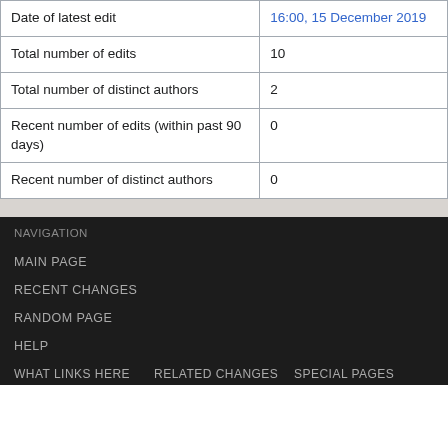|  |  |
| --- | --- |
| Date of latest edit | 16:00, 15 December 2019 |
| Total number of edits | 10 |
| Total number of distinct authors | 2 |
| Recent number of edits (within past 90 days) | 0 |
| Recent number of distinct authors | 0 |
NAVIGATION
MAIN PAGE
RECENT CHANGES
RANDOM PAGE
HELP
WHAT LINKS HERE   RELATED CHANGES   SPECIAL PAGES